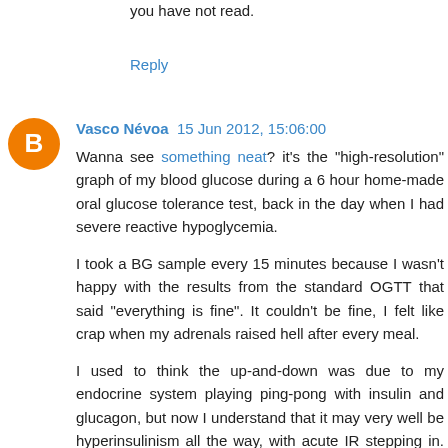you have not read.
Reply
Vasco Névoa  15 Jun 2012, 15:06:00
Wanna see something neat? it's the "high-resolution" graph of my blood glucose during a 6 hour home-made oral glucose tolerance test, back in the day when I had severe reactive hypoglycemia.

I took a BG sample every 15 minutes because I wasn't happy with the results from the standard OGTT that said "everything is fine". It couldn't be fine, I felt like crap when my adrenals raised hell after every meal.

I used to think the up-and-down was due to my endocrine system playing ping-pong with insulin and glucagon, but now I understand that it may very well be hyperinsulinism all the way, with acute IR stepping in. Very interesting.

Your blog is always a laugh, even though the biochemistry